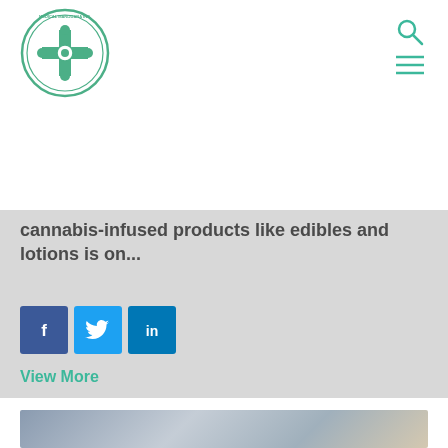[Figure (logo): Medical Marijuana Inc. circular logo with green border and molecule/medical cross design]
[Figure (infographic): Search icon (magnifying glass) in teal/green color, top right]
[Figure (infographic): Hamburger menu icon (three lines) in teal/green color, top right]
cannabis-infused products like edibles and lotions is on...
[Figure (infographic): Facebook share button - dark blue square with white 'f' icon]
[Figure (infographic): Twitter share button - light blue square with white bird icon]
[Figure (infographic): LinkedIn share button - blue square with white 'in' icon]
View More
[Figure (photo): Close-up photo of a person in blue clothing holding a dropper/syringe with golden liquid, partially visible at bottom of page]